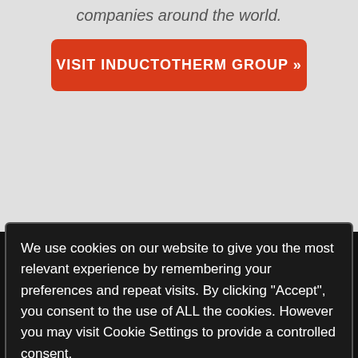companies around the world.
VISIT INDUCTOTHERM GROUP »
Inductotherm Coating Equipment is part of:
[Figure (logo): Inductotherm logo with red circle and grey square block followed by INDUCTOTHERM text in white bold italic on black background]
We use cookies on our website to give you the most relevant experience by remembering your preferences and repeat visits. By clicking “Accept”, you consent to the use of ALL the cookies. However you may visit Cookie Settings to provide a controlled consent.
READ MORE
ACCEPT